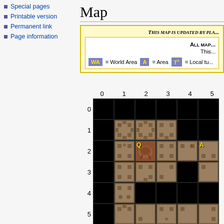Special pages
Printable version
Permanent link
Page information
Map
THIS MAP IS UPDATED BY PLA...
ALL MAP...
This...
WA = World Area   A = Area   T# = Local tu...
[Figure (map): Grid map with dungeon tiles, rows 0-5 and columns 0-5+. Row 0 is all black. Rows 1-5 show dungeon corridor/room tile images. Some cells have yellow letter labels: Q at (2,2), A at (2,5).]